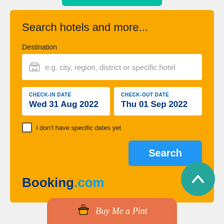[Figure (screenshot): Top teal rounded bar at top center of page]
Search hotels and more...
Destination
e.g. city, region, district or specific hotel
| CHECK-IN DATE | CHECK-OUT DATE |
| --- | --- |
| Wed 31 Aug 2022 | Thu 01 Sep 2022 |
I don't have specific dates yet
Search
Booking.com
[Figure (illustration): Teal circular scroll-up arrow button, bottom right]
Buy Me a Pint